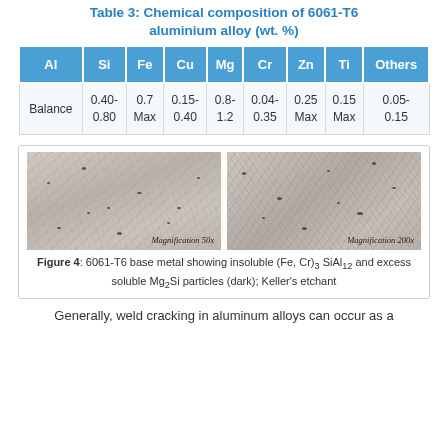Table 3: Chemical composition of 6061-T6 aluminium alloy (wt. %)
| Al | Si | Fe | Cu | Mg | Cr | Zn | Ti | Others |
| --- | --- | --- | --- | --- | --- | --- | --- | --- |
| Balance | 0.40-
0.80 | 0.7
Max | 0.15-
0.40 | 0.8-
1.2 | 0.04-
0.35 | 0.25
Max | 0.15
Max | 0.05-
0.15 |
[Figure (photo): Two micrograph images of 6061-T6 base metal side by side. Left image at Magnification 50x, right image at Magnification 200x. Both show a metallic grain structure with dark particles.]
Figure 4: 6061-T6 base metal showing insoluble (Fe, Cr)3 SiAl12 and excess soluble Mg2Si particles (dark); Keller's etchant
Generally, weld cracking in aluminum alloys can occur as a